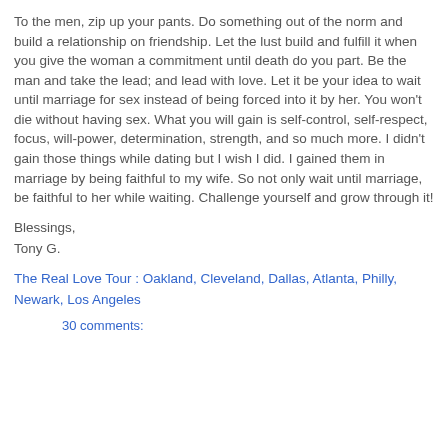To the men, zip up your pants. Do something out of the norm and build a relationship on friendship. Let the lust build and fulfill it when you give the woman a commitment until death do you part. Be the man and take the lead; and lead with love. Let it be your idea to wait until marriage for sex instead of being forced into it by her. You won't die without having sex. What you will gain is self-control, self-respect, focus, will-power, determination, strength, and so much more. I didn't gain those things while dating but I wish I did. I gained them in marriage by being faithful to my wife. So not only wait until marriage, be faithful to her while waiting. Challenge yourself and grow through it!
Blessings,
Tony G.
The Real Love Tour : Oakland, Cleveland, Dallas, Atlanta, Philly, Newark, Los Angeles
30 comments: